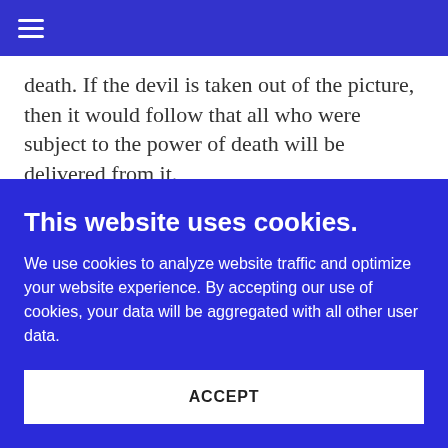death. If the devil is taken out of the picture, then it would follow that all who were subject to the power of death will be delivered from it.
Hebrews 9:26b: “But now he has appeared once for All at the end of the ages to do
This website uses cookies.
We use cookies to analyze website traffic and optimize your website experience. By accepting our use of cookies, your data will be aggregated with all other user data.
ACCEPT